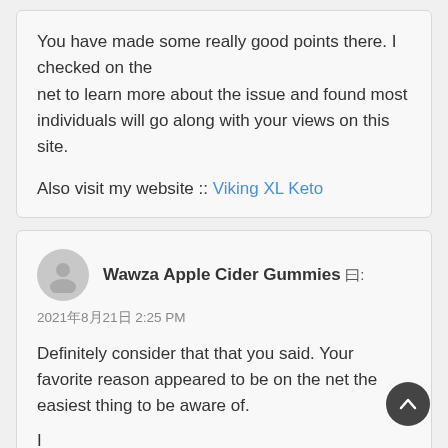You have made some really good points there. I checked on the net to learn more about the issue and found most individuals will go along with your views on this site.
Also visit my website :: Viking XL Keto
Wawza Apple Cider Gummies 曰:
2021年8月21日 2:25 PM
Definitely consider that that you said. Your favorite reason appeared to be on the net the easiest thing to be aware of.